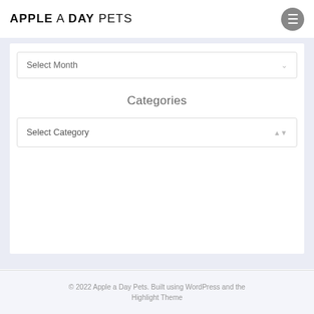APPLE A DAY PETS
Select Month
Categories
Select Category
© 2022 Apple a Day Pets. Built using WordPress and the Highlight Theme